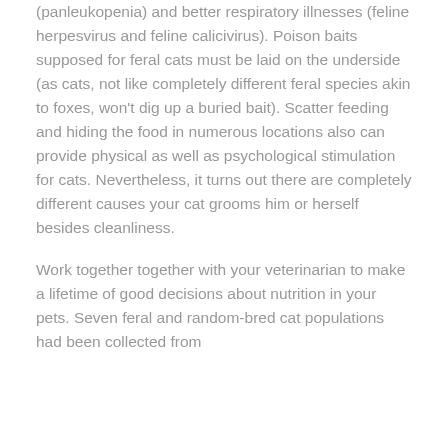(panleukopenia) and better respiratory illnesses (feline herpesvirus and feline calicivirus). Poison baits supposed for feral cats must be laid on the underside (as cats, not like completely different feral species akin to foxes, won't dig up a buried bait). Scatter feeding and hiding the food in numerous locations also can provide physical as well as psychological stimulation for cats. Nevertheless, it turns out there are completely different causes your cat grooms him or herself besides cleanliness.
Work together together with your veterinarian to make a lifetime of good decisions about nutrition in your pets. Seven feral and random-bred cat populations had been collected from